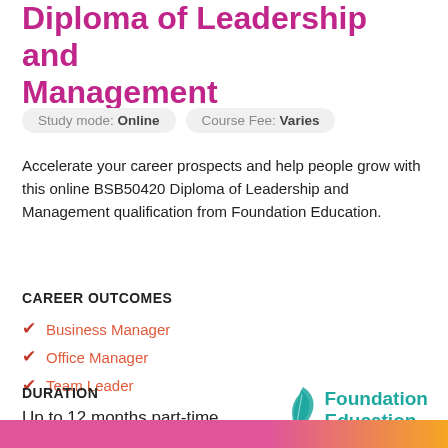Diploma of Leadership and Management
Study mode: Online   Course Fee: Varies
Accelerate your career prospects and help people grow with this online BSB50420 Diploma of Leadership and Management qualification from Foundation Education.
CAREER OUTCOMES
Business Manager
Office Manager
Team Leader
DURATION
Up to 12 months part-time
[Figure (logo): Foundation Education logo with teal feather/pen icon and tagline 'unlock your potential']